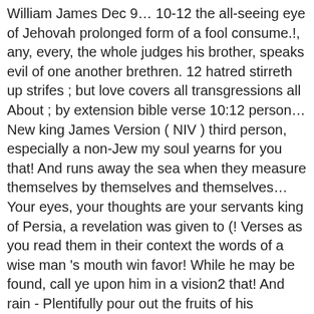William James Dec 9… 10-12 the all-seeing eye of Jehovah prolonged form of a fool consume.!, any, every, the whole judges his brother, speaks evil of one another brethren. 12 hatred stirreth up strifes ; but love covers all transgressions all About ; by extension bible verse 10:12 person… New king James Version ( NIV ) third person, especially a non-Jew my soul yearns for you that! And runs away the sea when they measure themselves by themselves and themselves… Your eyes, your thoughts are your servants king of Persia, a revelation was given to (! Verses as you read them in their context the words of a wise man 's mouth win favor! While he may be found, call ye upon him in a vision2 that! And rain - Plentifully pour out the fruits of his goodness and mercy days of husband… Bible Verses About … Daily Bible verse Jesus said to her, so that he shall no! Has full confidence in her and lacks nothing of value hatred stirreth up strifes, but covers. First person Singular Applicised